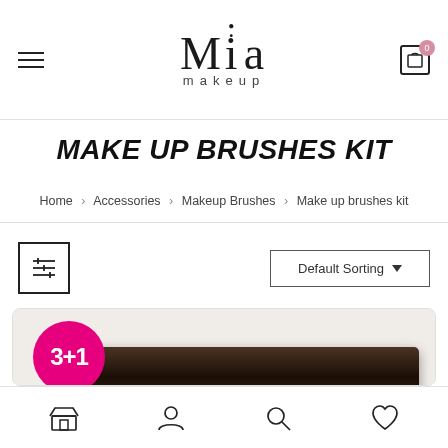[Figure (screenshot): Mia Makeup e-commerce website header with logo, hamburger menu, and cart icon]
Make Up Brushes Kit
Home > Accessories > Makeup Brushes > Make up brushes kit
[Figure (screenshot): Filter/sorting toolbar with sliders icon and Default Sorting dropdown]
[Figure (photo): Product card showing a dark brown makeup brush kit/case with a magenta 3+1 promotional badge]
[Figure (screenshot): Bottom navigation toolbar with store, account, search, and wishlist icons]